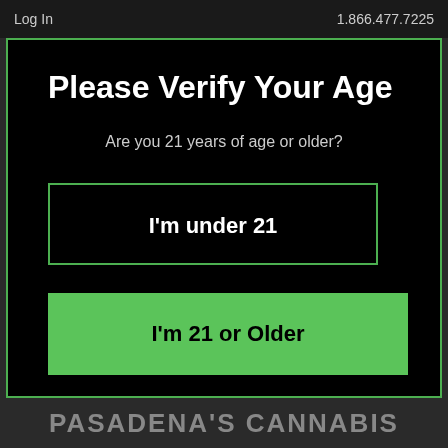Log In    1.866.477.7225
Please Verify Your Age
Are you 21 years of age or older?
I'm under 21
I'm 21 or Older
PASADENA'S CANNABIS